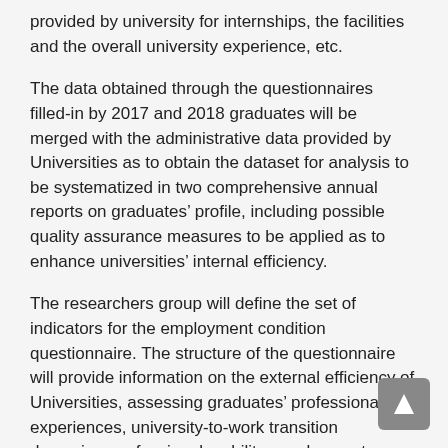provided by university for internships, the facilities and the overall university experience, etc.
The data obtained through the questionnaires filled-in by 2017 and 2018 graduates will be merged with the administrative data provided by Universities as to obtain the dataset for analysis to be systematized in two comprehensive annual reports on graduates' profile, including possible quality assurance measures to be applied as to enhance universities' internal efficiency.
The researchers group will define the set of indicators for the employment condition questionnaire. The structure of the questionnaire will provide information on the external efficiency of Universities, assessing graduates' professional experiences, university-to-work transition dynamics, professional mobility, employment conditions and perspectives.